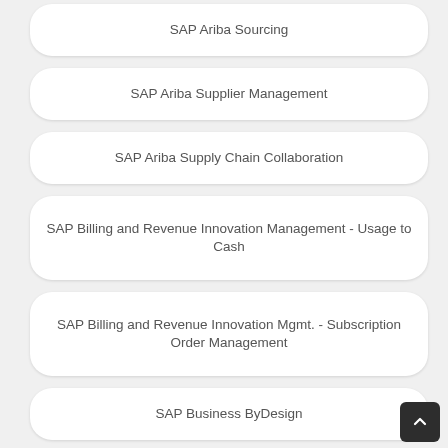SAP Ariba Sourcing
SAP Ariba Supplier Management
SAP Ariba Supply Chain Collaboration
SAP Billing and Revenue Innovation Management - Usage to Cash
SAP Billing and Revenue Innovation Mgmt. - Subscription Order Management
SAP Business ByDesign
SAP Business ByDesign Implementation Consultant
SAP Business One Release 10.0
SAP Business Planning and Consolidation 10.1 and 11.0